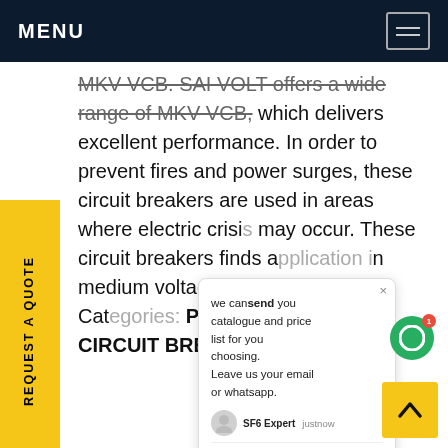MENU
MKV VCB. SAI VOLT offers a wide range of MKV VCB, which delivers excellent performance. In order to prevent fires and power surges, these circuit breakers are used in areas where electric crisis may occur. These circuit breakers finds application in medium voltage power system. Categories: PANELS, VACUUM CIRCUIT BREAKER.
REQUEST A QUOTE
we can send you catalogue and price list for you choosing.
Leave us your email or whatsapp.
SF6 Expert   justnow
Write